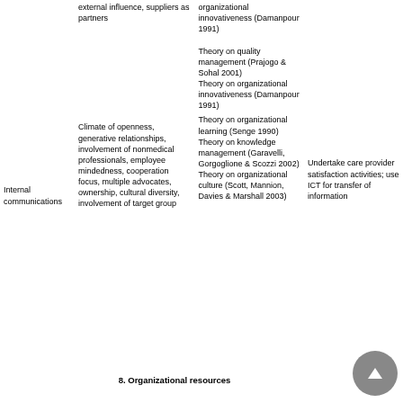|  | Characteristics | Theory | Practice |
| --- | --- | --- | --- |
|  | external influence, suppliers as partners | organizational innovativeness (Damanpour 1991)
Theory on quality management (Prajogo & Sohal 2001)
Theory on organizational innovativeness (Damanpour 1991) |  |
| Internal communications | Climate of openness, generative relationships, involvement of nonmedical professionals, employee mindedness, cooperation focus, multiple advocates, ownership, cultural diversity, involvement of target group | Theory on organizational learning (Senge 1990)
Theory on knowledge management (Garavelli, Gorgoglione & Scozzi 2002)
Theory on organizational culture (Scott, Mannion, Davies & Marshall 2003) | Undertake care provider satisfaction activities; use ICT for transfer of information |
8. Organizational resources